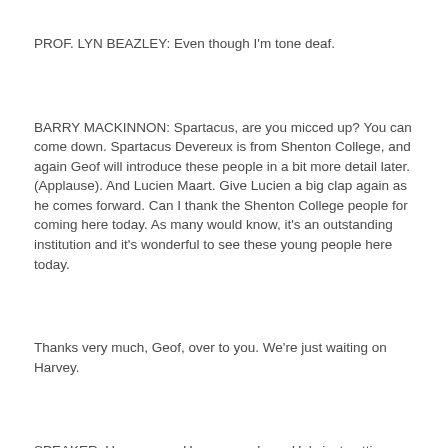PROF. LYN BEAZLEY:  Even though I'm tone deaf.
BARRY MACKINNON:  Spartacus, are you micced up?  You can come down.  Spartacus Devereux is from Shenton College, and again Geof will introduce these people in a bit more detail later.  (Applause).  And Lucien Maart.  Give Lucien a big clap again as he comes forward.  Can I thank the Shenton College people for coming here today.  As many would know, it's an outstanding institution and it's wonderful to see these young people here today.
Thanks very much, Geof, over to you.  We're just waiting on Harvey.
SPEAKER:  Harvey, yes.  Harvey was here.  He's just getting micced up.  Thanks.